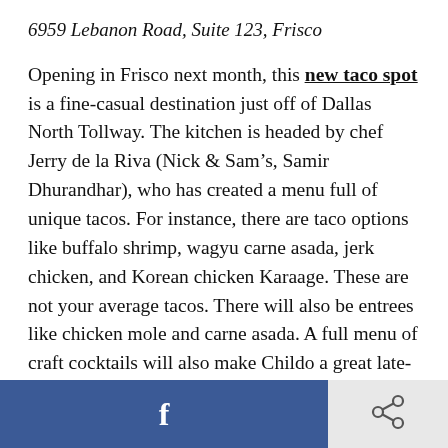6959 Lebanon Road, Suite 123, Frisco
Opening in Frisco next month, this new taco spot is a fine-casual destination just off of Dallas North Tollway. The kitchen is headed by chef Jerry de la Riva (Nick & Sam’s, Samir Dhurandhar), who has created a menu full of unique tacos. For instance, there are taco options like buffalo shrimp, wagyu carne asada, jerk chicken, and Korean chicken Karaage. These are not your average tacos. There will also be entrees like chicken mole and carne asada. A full menu of craft cocktails will also make Childo a great late-night lounge spot.